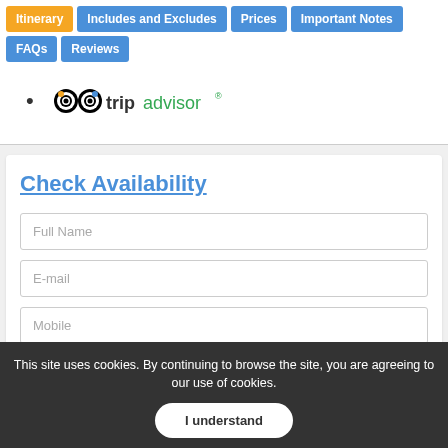Itinerary | Includes and Excludes | Prices | Important Notes | FAQs | Reviews
tripadvisor
Check Availability
Full Name
E-mail
Mobile
This site uses cookies. By continuing to browse the site, you are agreeing to our use of cookies.
I understand